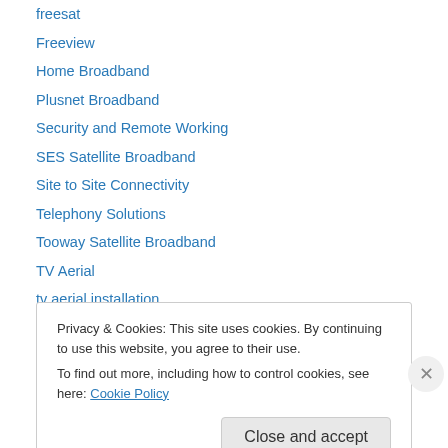freesat
Freeview
Home Broadband
Plusnet Broadband
Security and Remote Working
SES Satellite Broadband
Site to Site Connectivity
Telephony Solutions
Tooway Satellite Broadband
TV Aerial
tv aerial installation
TV Signal
Uncategorized
Privacy & Cookies: This site uses cookies. By continuing to use this website, you agree to their use.
To find out more, including how to control cookies, see here: Cookie Policy